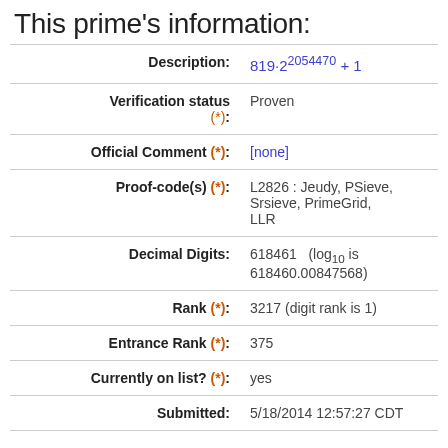This prime's information:
| Field | Value |
| --- | --- |
| Description: | 819·2^2054470 + 1 |
| Verification status (*): | Proven |
| Official Comment (*): | [none] |
| Proof-code(s) (*): | L2826 : Jeudy, PSieve, Srsieve, PrimeGrid, LLR |
| Decimal Digits: | 618461   (log10 is 618460.00847568) |
| Rank (*): | 3217 (digit rank is 1) |
| Entrance Rank (*): | 375 |
| Currently on list? (*): | yes |
| Submitted: | 5/18/2014 12:57:27 CDT |